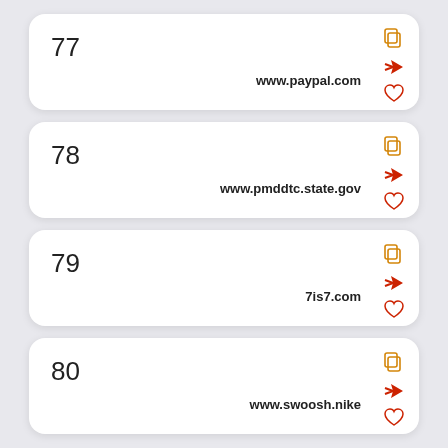77 www.paypal.com
78 www.pmddtc.state.gov
79 7is7.com
80 www.swoosh.nike